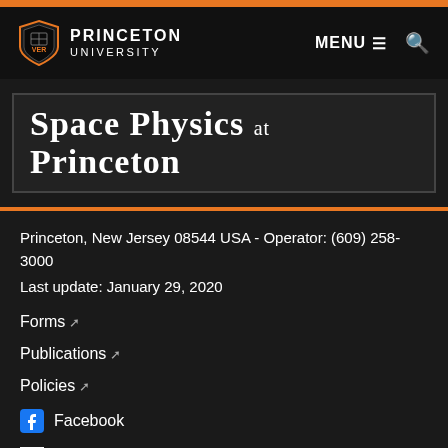Princeton University – Space Physics at Princeton
Space Physics at Princeton
Princeton, New Jersey 08544 USA - Operator: (609) 258-3000
Last update: January 29, 2020
Forms
Publications
Policies
Facebook
Google+